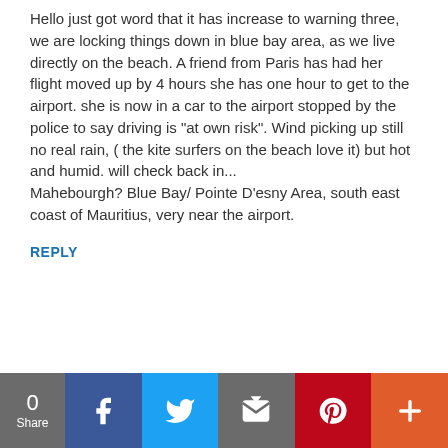Hello just got word that it has increase to warning three, we are locking things down in blue bay area, as we live directly on the beach. A friend from Paris has had her flight moved up by 4 hours she has one hour to get to the airport. she is now in a car to the airport stopped by the police to say driving is "at own risk". Wind picking up still no real rain, ( the kite surfers on the beach love it) but hot and humid. will check back in...
Mahebourgh? Blue Bay/ Pointe D'esny Area, south east coast of Mauritius, very near the airport.
REPLY
0 Share | Facebook | Twitter | Email | Pinterest | More